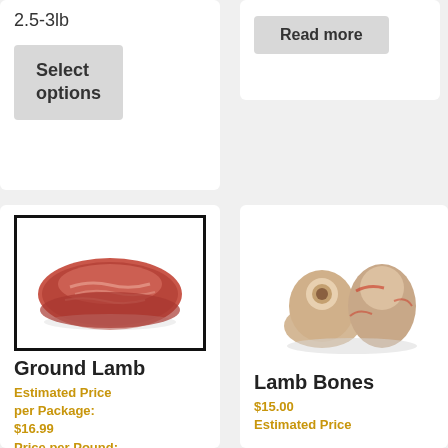2.5-3lb
Select options
Read more
[Figure (photo): Ground lamb meat on white background]
Ground Lamb
Estimated Price per Package: $16.99
Price per Pound:
[Figure (photo): Lamb bones on white background]
Lamb Bones
$15.00
Estimated Price